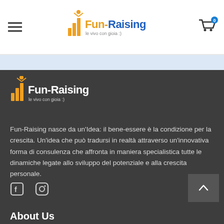Fun-Raising - le vivo con gioia :)
[Figure (logo): Fun-Raising logo with bar chart icon and text 'le vivo con gioia :)' in header]
[Figure (logo): Fun-Raising logo white version in dark footer section]
Fun-Raising nasce da un'Idea: il bene-essere è la condizione per la crescita. Un'idea che può tradursi in realtà attraverso un'innovativa forma di consulenza che affronta in maniera specialistica tutte le dinamiche legate allo sviluppo del potenziale e alla crescita personale.
About Us